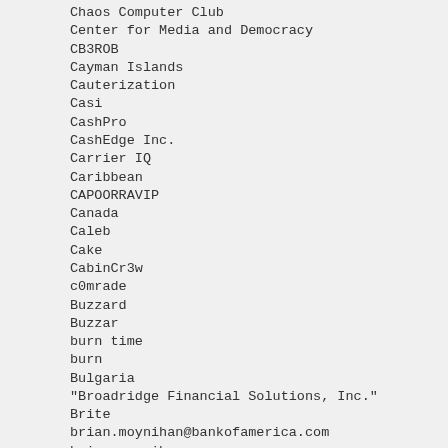Chaos Computer Club
Center for Media and Democracy
CB3ROB
Cayman Islands
Cauterization
Casi
CashPro
CashEdge Inc.
Carrier IQ
Caribbean
CAPOORRAVIP
Canada
Caleb
Cake
CabinCr3w
c0mrade
Buzzard
Buzzar
burn time
burn
Bulgaria
"Broadridge Financial Solutions, Inc."
Brite
brian.moynihan@bankofamerica.com
brian.moynihan
Brian X. Moynihan
Brian Penny
Brian Moynihan
breach
Brazil
Bradley Mannion